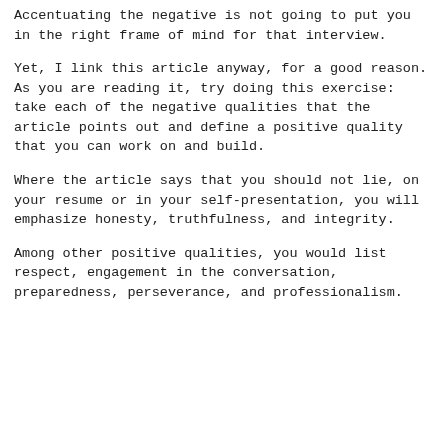Accentuating the negative is not going to put you in the right frame of mind for that interview.
Yet, I link this article anyway, for a good reason. As you are reading it, try doing this exercise: take each of the negative qualities that the article points out and define a positive quality that you can work on and build.
Where the article says that you should not lie, on your resume or in your self-presentation, you will emphasize honesty, truthfulness, and integrity.
Among other positive qualities, you would list respect, engagement in the conversation, preparedness, perseverance, and professionalism.